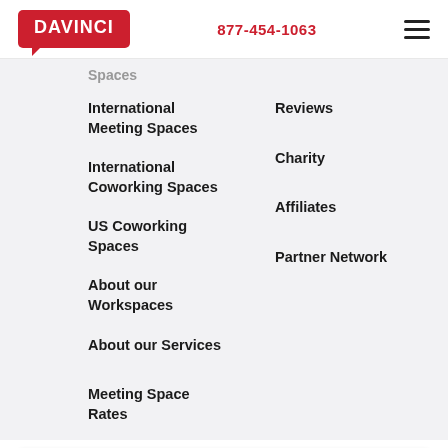DAVINCI | 877-454-1063
Spaces
International Meeting Spaces
Reviews
International Coworking Spaces
Charity
US Coworking Spaces
Affiliates
About our Workspaces
Partner Network
About our Services
Meeting Space Rates
Davinci uses cookies to improve your website experience. Cookie Policy